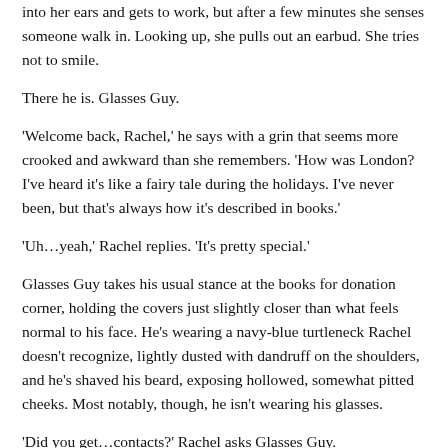into her ears and gets to work, but after a few minutes she senses someone walk in. Looking up, she pulls out an earbud. She tries not to smile.
There he is. Glasses Guy.
'Welcome back, Rachel,' he says with a grin that seems more crooked and awkward than she remembers. 'How was London? I've heard it's like a fairy tale during the holidays. I've never been, but that's always how it's described in books.'
'Uh…yeah,' Rachel replies. 'It's pretty special.'
Glasses Guy takes his usual stance at the books for donation corner, holding the covers just slightly closer than what feels normal to his face. He's wearing a navy-blue turtleneck Rachel doesn't recognize, lightly dusted with dandruff on the shoulders, and he's shaved his beard, exposing hollowed, somewhat pitted cheeks. Most notably, though, he isn't wearing his glasses.
'Did you get…contacts?' Rachel asks Glasses Guy.